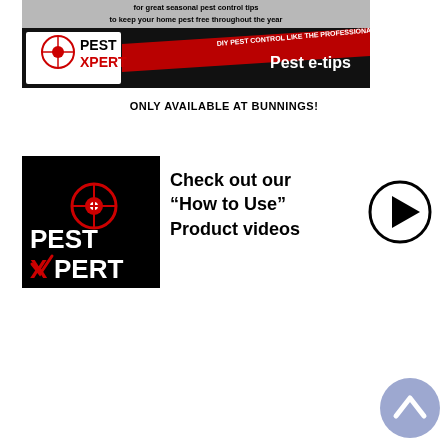[Figure (logo): PestXpert banner with logo, red diagonal stripe with 'DIY PEST CONTROL LIKE THE PROFESSIONALS' text, and 'Pest e-tips' text on dark background. Gray top bar partially visible.]
ONLY AVAILABLE AT BUNNINGS!
[Figure (illustration): PestXpert logo on black square background — white and red stylized PEST XPERT text with crosshair/target graphic]
Check out our "How to Use" Product videos
[Figure (other): Play button icon — circle with triangle pointing right]
[Figure (other): Scroll-up button — purple circle with upward chevron arrow]